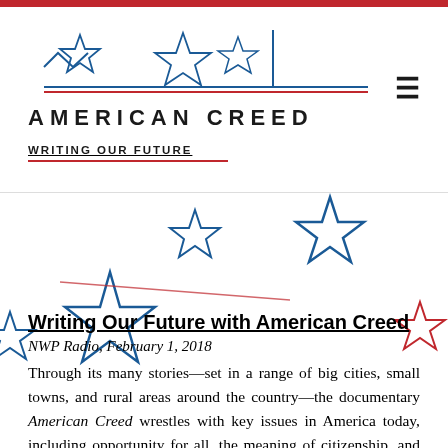[Figure (logo): American Creed logo with stylized stars and zigzag lines above text 'AMERICAN CREED' and subtitle 'WRITING OUR FUTURE']
[Figure (illustration): Decorative blue and red hand-drawn star outlines scattered across the page background]
Writing Our Future with American Creed
NWP Radio, February 1, 2018
Through its many stories—set in a range of big cities, small towns, and rural areas around the country—the documentary American Creed wrestles with key issues in America today, including opportunity for all, the meaning of citizenship, and the challenge of meaningful civic participation and dialogue. Listen to this NWP Radio episode to hear